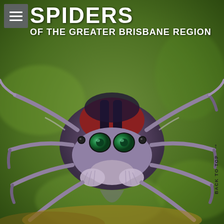[Figure (photo): Close-up macro photograph of a jumping spider (salticid) facing directly at the camera. The spider has vivid red and dark blue/black striped markings on its carapace, large reflective green forward-facing eyes, and multiple smaller side eyes. Its legs are striped purple/tan and fuzzy. The background is blurred green foliage. A book cover image for 'Spiders of the Greater Brisbane Region'.]
SPIDERS OF THE GREATER BRISBANE REGION
BACK TO TOP